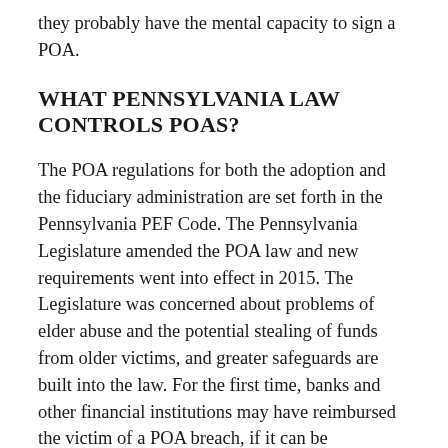they probably have the mental capacity to sign a POA.
WHAT PENNSYLVANIA LAW CONTROLS POAS?
The POA regulations for both the adoption and the fiduciary administration are set forth in the Pennsylvania PEF Code. The Pennsylvania Legislature amended the POA law and new requirements went into effect in 2015. The Legislature was concerned about problems of elder abuse and the potential stealing of funds from older victims, and greater safeguards are built into the law. For the first time, banks and other financial institutions may have reimbursed the victim of a POA breach, if it can be demonstrated that the financial institution permitted someone to act improperly under the POA and if those powers are not explicitly stated in the express terms of the POA.